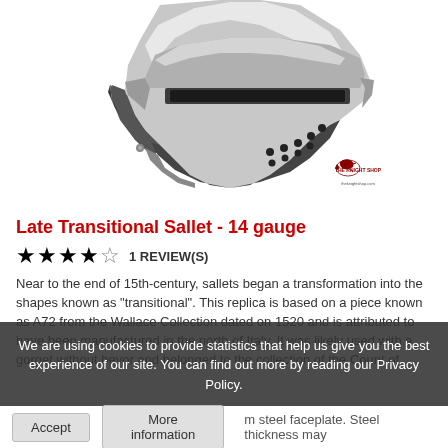[Figure (photo): A late transitional sallet helmet in polished steel and dark metal, showing the visor, cheek guards, and ventilation holes. The Knight Shop logo is visible in the lower right corner of the image.]
Late Transitional Sallet - 14 gauge
★★★★☆  1 REVIEW(S)
Near to the end of 15th-century, sallets began a transformation into the shapes known as "transitional". This replica is based on a piece known as A72 from the Wallace Collection dated on 1520 and is attributed to have been manufactured in the north of Italy. It was likely used with a gorget without bevor and belonged to the collection of the Count of Nieuwerkerke, and acquired by Sir Richard Wallace in 1871. This style of sallet can be seen in the painting by Eugène Emmanuel Viollet-le-Duc in his piece "Castles and Warfare in the Middle Ages".
We are using cookies to provide statistics that help us give you the best experience of our site. You can find out more by reading our Privacy Policy.
Accept    More information    m steel faceplate. Steel thickness may